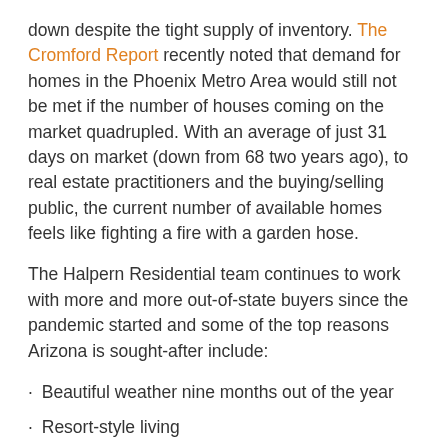down despite the tight supply of inventory. The Cromford Report recently noted that demand for homes in the Phoenix Metro Area would still not be met if the number of houses coming on the market quadrupled. With an average of just 31 days on market (down from 68 two years ago), to real estate practitioners and the buying/selling public, the current number of available homes feels like fighting a fire with a garden hose.
The Halpern Residential team continues to work with more and more out-of-state buyers since the pandemic started and some of the top reasons Arizona is sought-after include:
Beautiful weather nine months out of the year
Resort-style living
Prestigious restaurants and shopping
Specialty education options
Reasonable cost of living combined with the ability to work